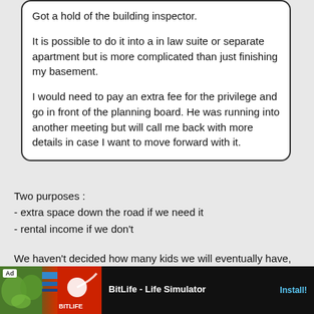Got a hold of the building inspector.

It is possible to do it into a in law suite or separate apartment but is more complicated than just finishing my basement.

I would need to pay an extra fee for the privilege and go in front of the planning board. He was running into another meeting but will call me back with more details in case I want to move forward with it.
What is the purpose of doing the in-law suite?
You're likely going to be requesting a variance. Your neighbors will be sent notification and they can either write an objection or also go in front of the planning commission. Off street parking is usually a concern.
Two purposes :
- extra space down the road if we need it
- rental income if we don't
We haven't decided how many kids we will eventually have, somewhere
[Figure (other): Advertisement banner for BitLife - Life Simulator app with Install button]